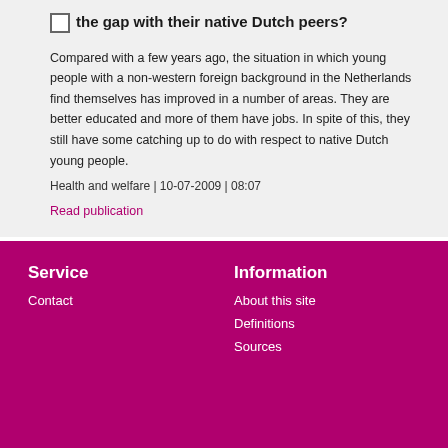the gap with their native Dutch peers?
Compared with a few years ago, the situation in which young people with a non-western foreign background in the Netherlands find themselves has improved in a number of areas. They are better educated and more of them have jobs. In spite of this, they still have some catching up to do with respect to native Dutch young people.
Health and welfare | 10-07-2009 | 08:07
Read publication
Service
Contact
Information
About this site
Definitions
Sources